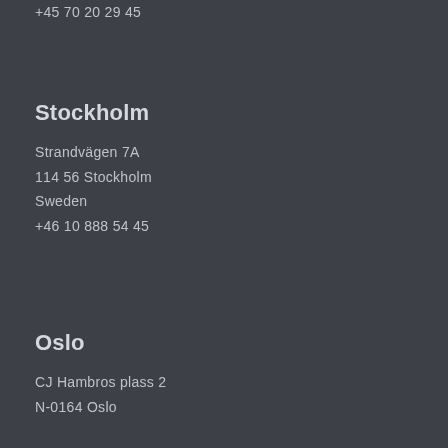+45 70 20 29 45
Stockholm
Strandvägen 7A
114 56 Stockholm
Sweden
+46 10 888 54 45
Oslo
CJ Hambros plass 2
N-0164 Oslo